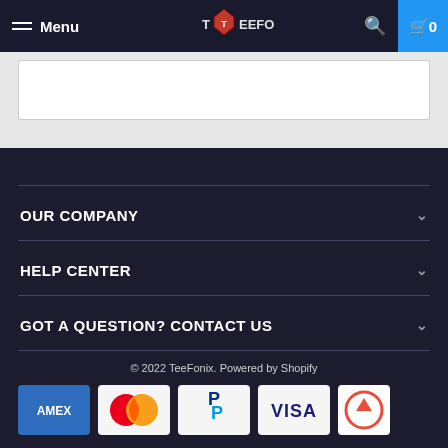Menu | TeeFonix | Search | Cart 0
OUR COMPANY
HELP CENTER
GOT A QUESTION? CONTACT US
© 2022 TeeFonix. Powered by Shopify
[Figure (logo): Payment method logos: American Express (AMEX), Mastercard, PayPal, Visa]